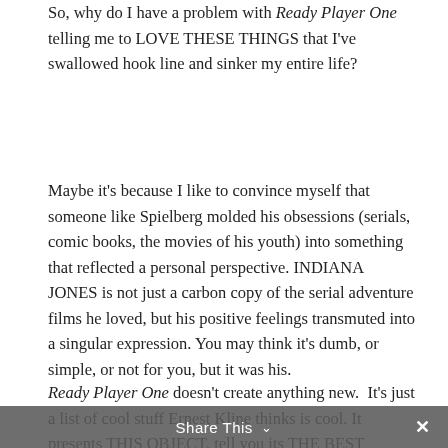So, why do I have a problem with Ready Player One telling me to LOVE THESE THINGS that I've swallowed hook line and sinker my entire life?
Maybe it's because I like to convince myself that someone like Spielberg molded his obsessions (serials, comic books, the movies of his youth) into something that reflected a personal perspective. INDIANA JONES is not just a carbon copy of the serial adventure films he loved, but his positive feelings transmuted into a singular expression. You may think it's dumb, or simple, or not for you, but it was his.
Ready Player One doesn't create anything new.  It's just a list of cool stuff Ernest Kline thinks is cool. It presents THIS OBJECT, tell you its THE BEST OBJECT, and if you don't love it, FUCK OFF.
Share This ∨  ✕